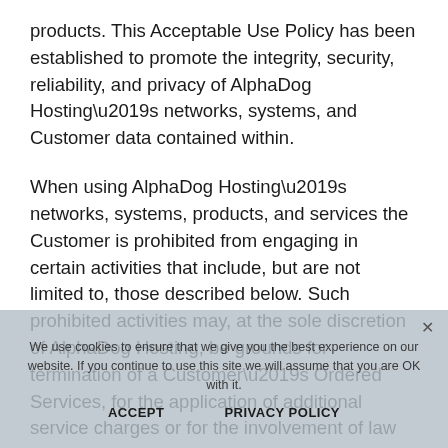products. This Acceptable Use Policy has been established to promote the integrity, security, reliability, and privacy of AlphaDog Hosting’s networks, systems, and Customer data contained within.
When using AlphaDog Hosting’s networks, systems, products, and services the Customer is prohibited from engaging in certain activities that include, but are not limited to, those described below. Such prohibited activities may, at the sole discretion of AlphaDog Hosting, be grounds for termination of a Customer’s Ordered Services, for the application of additional service charges or for the involvement of law enforcement agencies. AlphaDog Hosting reserves the right to remove any content or restrict the use of its Services for activities or content that in AlphaDog Hosting’s reasonable judgment, violate the terms or conditions under which AlphaDog Hosting provides the Services or violate this Acceptable Use Policy.
We use cookies to ensure that we give you the best experience on our website. If you continue to use this site we will assume that you are OK with it.